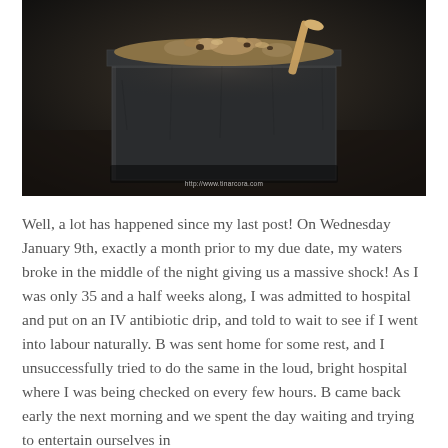[Figure (photo): Dark moody photograph of a metal tin box filled with granola or oat-based food items, shot from slightly above on a dark background. A watermark reads http://www.tinarcora.com at the bottom center.]
Well, a lot has happened since my last post! On Wednesday January 9th, exactly a month prior to my due date, my waters broke in the middle of the night giving us a massive shock! As I was only 35 and a half weeks along, I was admitted to hospital and put on an IV antibiotic drip, and told to wait to see if I went into labour naturally. B was sent home for some rest, and I unsuccessfully tried to do the same in the loud, bright hospital where I was being checked on every few hours. B came back early the next morning and we spent the day waiting and trying to entertain ourselves in the dismal hospital surroundings, but receiving lots of messages